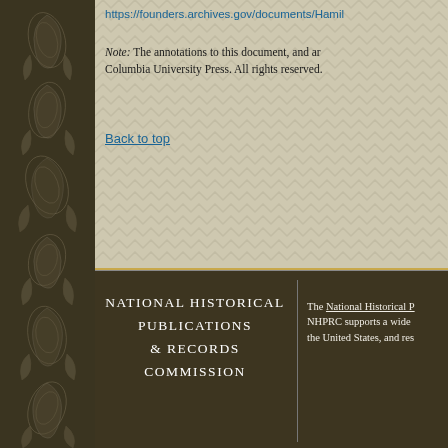[Figure (illustration): Dark brown decorative border on the left side with floral and paisley motifs in gray-green tones on a dark brown background]
https://founders.archives.gov/documents/Hamil
Note: The annotations to this document, and ar Columbia University Press. All rights reserved.
Back to top
NATIONAL HISTORICAL PUBLICATIONS & RECORDS COMMISSION
The National Historical P NHPRC supports a wide the United States, and res
Founders Online is an official website of the U.S. government, administered by the National Archives and Records Administration through the NHPRC, in partnership with the University of Virginia Press, which is hosting this website.